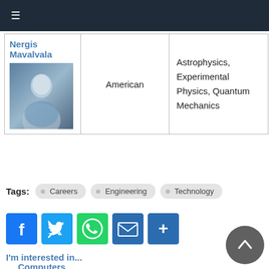≡
| Name | Nationality | Fields |
| --- | --- | --- |
| Nergis Mavalvala [photo] | American | Astrophysics, Experimental Physics, Quantum Mechanics |
Tags: Careers  Engineering  Technology
[Figure (infographic): Social share buttons: Facebook, Twitter, WhatsApp, Email, More (+)]
I'm interested in...
Computers
Explaining